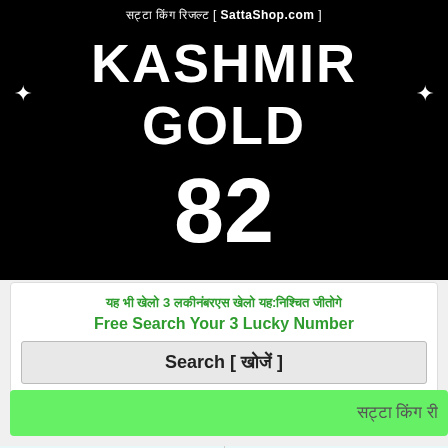सट्टा किंग रिजल्ट [ SattaShop.com ]
KASHMIR GOLD
82
यह भी खेलो 3 लकीनंबरएस खेलो यह:निश्चित जीतोगे
Free Search Your 3 Lucky Number
Search [ खोजें ]
सट्टा किंग री